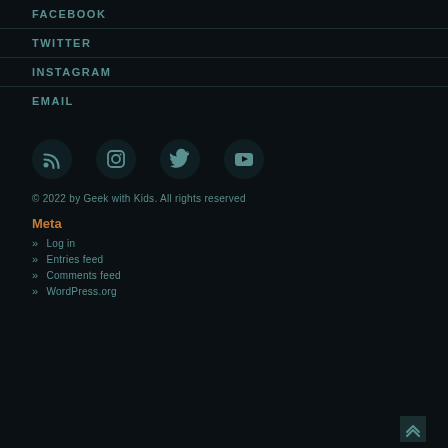FACEBOOK
TWITTER
INSTAGRAM
EMAIL
[Figure (infographic): Social media icons row: RSS feed, Instagram, Twitter, YouTube]
© 2022 by Geek with Kids. All rights reserved
Meta
Log in
Entries feed
Comments feed
WordPress.org